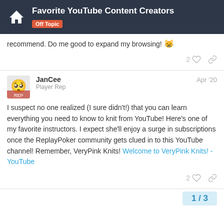Favorite YouTube Content Creators | Off Topic
recommend. Do me good to expand my browsing! 😸
JanCee | Player Rep | Apr '20
I suspect no one realized (I sure didn't!) that you can learn everything you need to know to knit from YouTube! Here's one of my favorite instructors. I expect she'll enjoy a surge in subscriptions once the ReplayPoker community gets clued in to this YouTube channel! Remember, VeryPink Knits! Welcome to VeryPink Knits! - YouTube
1 / 3